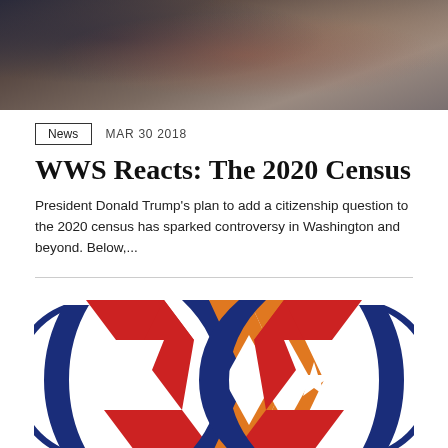[Figure (photo): Blurred crowd photo at top of article, dark tones with bokeh effect]
News   MAR 30 2018
WWS Reacts: The 2020 Census
President Donald Trump's plan to add a citizenship question to the 2020 census has sparked controversy in Washington and beyond. Below,...
[Figure (logo): WWS (Woodrow Wilson School) logo in red, blue, orange and white colors, stylized interlocking W shapes with stars]